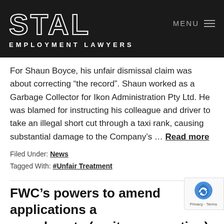[Figure (logo): STAL Employment Lawyers logo in white text on dark background with MENU navigation]
For Shaun Boyce, his unfair dismissal claim was about correcting “the record”. Shaun worked as a Garbage Collector for Ikon Administration Pty Ltd. He was blamed for instructing his colleague and driver to take an illegal short cut through a taxi rank, causing substantial damage to the Company’s … Read more
Filed Under: News
Tagged With: #Unfair Treatment
FWC’s powers to amend applications and award costs (on its own motion), confirmed
August 18, 2019 By Mark Comito